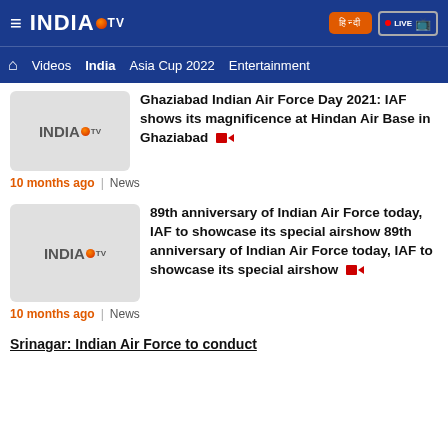India TV - India News, Bollywood, Cricket
Videos | India | Asia Cup 2022 | Entertainment
Ghaziabad Indian Air Force Day 2021: IAF shows its magnificence at Hindan Air Base in Ghaziabad
89th anniversary of Indian Air Force today, IAF to showcase its special airshow 89th anniversary of Indian Air Force today, IAF to showcase its special airshow
Srinagar: Indian Air Force to conduct